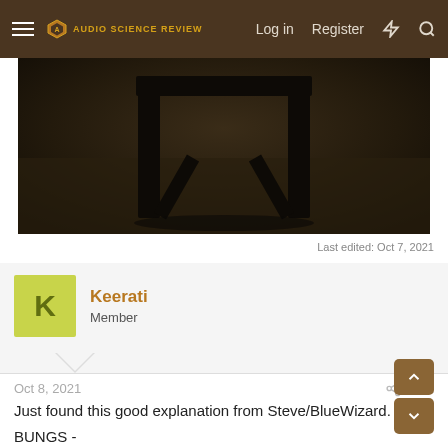Audio Science Review — Log in  Register
[Figure (photo): Dark photo showing what appears to be a chair or furniture legs on a carpet, dimly lit]
Last edited: Oct 7, 2021
Keerati
Member
Oct 8, 2021	#71
Just found this good explanation from Steve/BlueWizard.
BUNGS -
When you place a speaker close to one or more boundary walls, you get a boost in the bass. But the bass is usually accompanied by timing errors in the midrange. In short, the sound bounces off the wall enabling the midrange. Y...